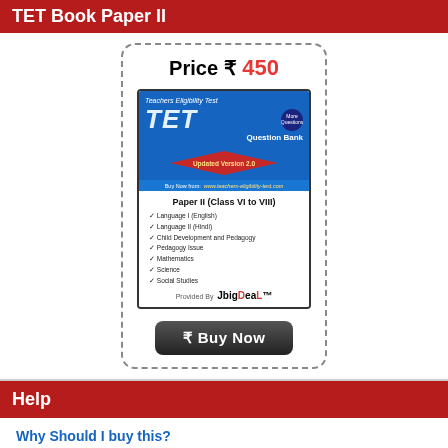TET Book Paper II
[Figure (illustration): TET Book Paper II product listing showing book cover with price ₹450 and Buy Now button inside a dashed border box. Book cover shows Teachers Eligibility Test TET Question Bank, Updated Version 2.0, Paper II (Class VI to VIII), subjects listed, Provided By JbigDeal.]
Help
Why Should I buy this?
Refund and Cancellation
Delivery and Shipping
Contact Us